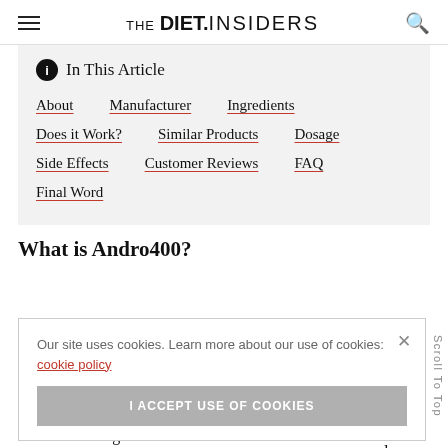THE DIET.INSIDERS
In This Article
About
Manufacturer
Ingredients
Does it Work?
Similar Products
Dosage
Side Effects
Customer Reviews
FAQ
Final Word
What is Andro400?
Our site uses cookies. Learn more about our use of cookies: cookie policy
I ACCEPT USE OF COOKIES
is specially and lose which muscle
Scroll To Top
mass and strength